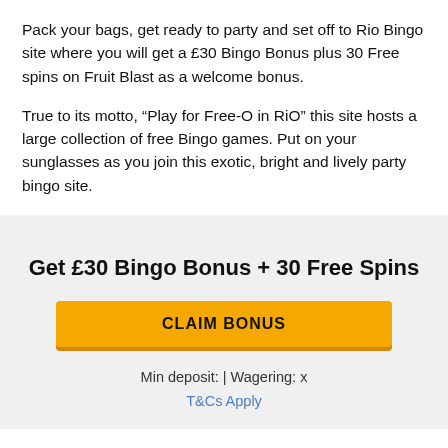Pack your bags, get ready to party and set off to Rio Bingo site where you will get a £30 Bingo Bonus plus 30 Free spins on Fruit Blast as a welcome bonus.
True to its motto, “Play for Free-O in RiO” this site hosts a large collection of free Bingo games. Put on your sunglasses as you join this exotic, bright and lively party bingo site.
Get £30 Bingo Bonus + 30 Free Spins
CLAIM BONUS
Min deposit: | Wagering: x
T&Cs Apply